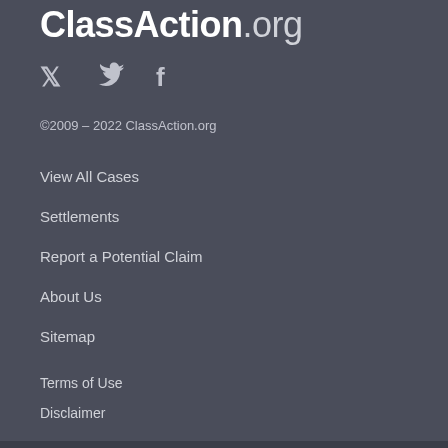ClassAction.org
[Figure (illustration): Twitter bird icon and Facebook 'f' icon in light gray]
©2009 - 2022 ClassAction.org
View All Cases
Settlements
Report a Potential Claim
About Us
Sitemap
Terms of Use
Disclaimer
Privacy Notice
Comment Policy